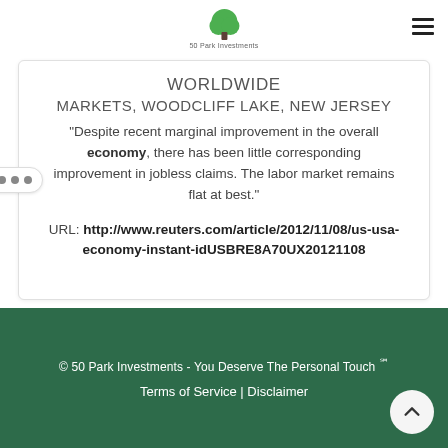50 Park Investments
WORLDWIDE
MARKETS, WOODCLIFF LAKE, NEW JERSEY
“Despite recent marginal improvement in the overall economy, there has been little corresponding improvement in jobless claims. The labor market remains flat at best.”
URL: http://www.reuters.com/article/2012/11/08/us-usa-economy-instant-idUSBRE8A70UX20121108
© 50 Park Investments - You Deserve The Personal Touch ℠
Terms of Service | Disclaimer